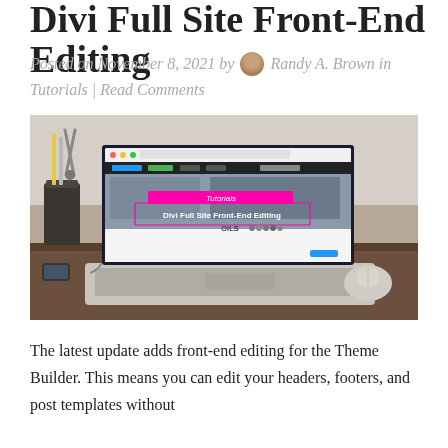Divi Full Site Front-End Editing
Posted on November 8, 2021 by Randy A. Brown in Tutorials | Read Comments
[Figure (screenshot): Screenshot showing a laptop on a desk displaying a website in Divi builder with a pink/magenta banner labeled 'Tutorials' and text 'Divi Full Site Front-End Editing'. Pencils and scissors in a cup holder visible in background along with a smartphone and mouse.]
The latest update adds front-end editing for the Theme Builder. This means you can edit your headers, footers, and post templates without